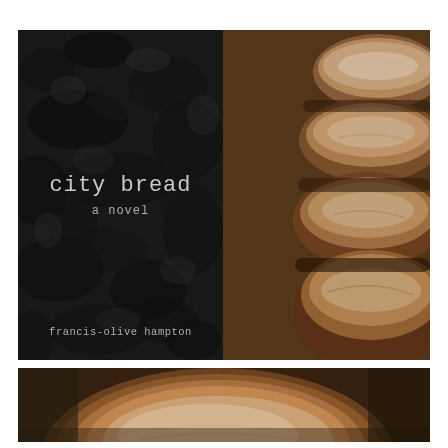[Figure (photo): Book cover collage: left side shows the book cover of 'city bread, a novel' by francis-olive hampton on a dark textured background; right side shows a photograph of several rustic sourdough bread loaves with floury crusty tops arranged in a row on a baking surface.]
[Figure (photo): Close-up photograph of a single round rustic sourdough bread loaf dusted with flour, showing scored crust detail, on a dark baking surface.]